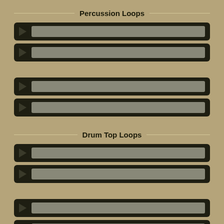Percussion Loops
[Figure (infographic): Four audio player bars with play buttons and progress bars under Percussion Loops section]
Drum Top Loops
[Figure (infographic): Four audio player bars with play buttons and progress bars under Drum Top Loops section]